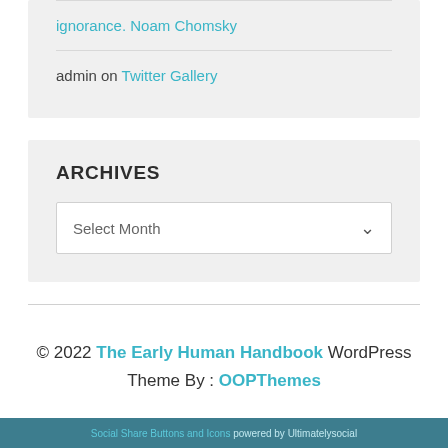ignorance. Noam Chomsky
admin on Twitter Gallery
ARCHIVES
Select Month
© 2022 The Early Human Handbook WordPress Theme By : OOPThemes
Social Share Buttons and Icons powered by Ultimatelysocial